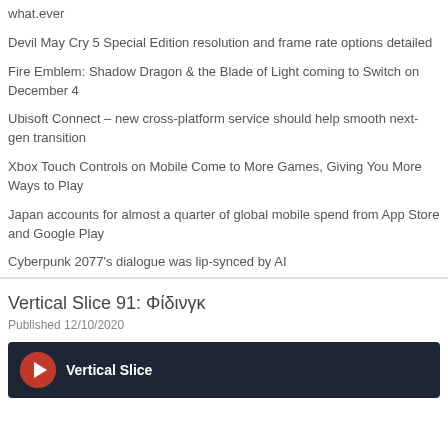what.ever
Devil May Cry 5 Special Edition resolution and frame rate options detailed
Fire Emblem: Shadow Dragon & the Blade of Light coming to Switch on December 4
Ubisoft Connect – new cross-platform service should help smooth next-gen transition
Xbox Touch Controls on Mobile Come to More Games, Giving You More Ways to Play
Japan accounts for almost a quarter of global mobile spend from App Store and Google Play
Cyberpunk 2077's dialogue was lip-synced by AI
Vertical Slice 91: Φίδινγκ
Published 12/10/2020
[Figure (other): Vertical Slice podcast card with logo icon on dark background]